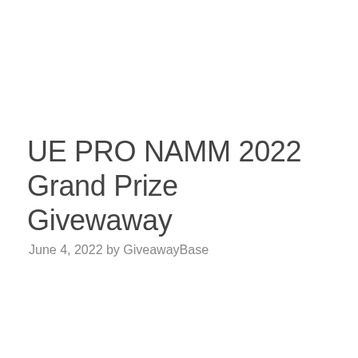UE PRO NAMM 2022 Grand Prize Givewaway
June 4, 2022 by GiveawayBase